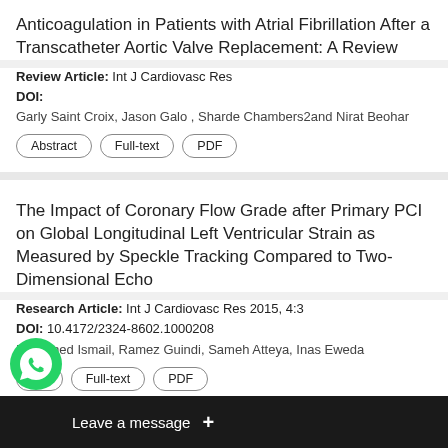Anticoagulation in Patients with Atrial Fibrillation After a Transcatheter Aortic Valve Replacement: A Review
Review Article: Int J Cardiovasc Res
DOI:
Garly Saint Croix, Jason Galo , Sharde Chambers2and Nirat Beohar
The Impact of Coronary Flow Grade after Primary PCI on Global Longitudinal Left Ventricular Strain as Measured by Speckle Tracking Compared to Two-Dimensional Echo
Research Article: Int J Cardiovasc Res 2015, 4:3
DOI: 10.4172/2324-8602.1000208
Mohamed Ismail, Ramez Guindi, Sameh Atteya, Inas Eweda
Pre... During